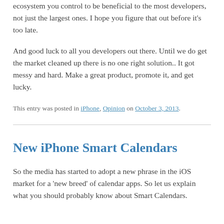ecosystem you control to be beneficial to the most developers, not just the largest ones. I hope you figure that out before it's too late.
And good luck to all you developers out there. Until we do get the market cleaned up there is no one right solution.. It got messy and hard. Make a great product, promote it, and get lucky.
This entry was posted in iPhone, Opinion on October 3, 2013.
New iPhone Smart Calendars
So the media has started to adopt a new phrase in the iOS market for a 'new breed' of calendar apps. So let us explain what you should probably know about Smart Calendars.